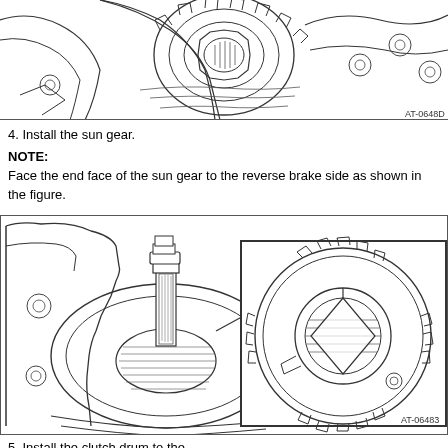[Figure (engineering-diagram): Close-up engineering diagram of a transmission component, showing a gear/clutch hub assembly from above. Diagram labeled AT-0648D.]
4. Install the sun gear.
NOTE:
Face the end face of the sun gear to the reverse brake side as shown in the figure.
[Figure (engineering-diagram): Engineering diagram showing installation of sun gear into transmission housing (left), with an inset detail view of the sun gear component showing its teeth and internal splines (right). Diagram labeled AT-06483.]
5. Install the clutch drum to the...